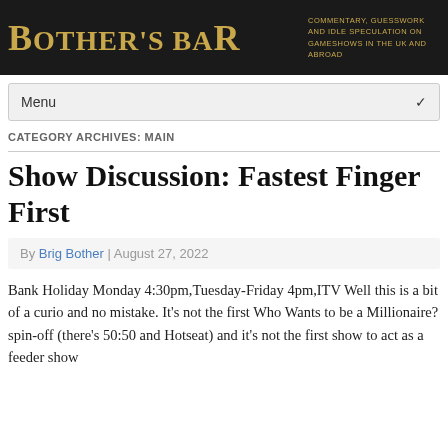[Figure (logo): Bother's Bar website banner: dark background with golden serif logo text 'BOTHER'S BAR' and tagline 'COMMENTARY, GUESSWORK AND IDLE SPECULATION ON GAMESHOWS IN THE UK AND ABROAD']
Menu
CATEGORY ARCHIVES: MAIN
Show Discussion: Fastest Finger First
By Brig Bother | August 27, 2022
Bank Holiday Monday 4:30pm,Tuesday-Friday 4pm,ITV Well this is a bit of a curio and no mistake. It's not the first Who Wants to be a Millionaire? spin-off (there's 50:50 and Hotseat) and it's not the first show to act as a feeder show